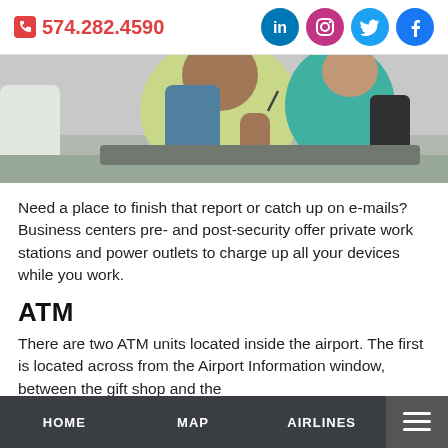574.282.4590 | LinkedIn | Instagram | Twitter | Facebook
[Figure (photo): People sitting in an airport waiting area; a woman in a yellow-green shirt is visible holding a pen, with others around her.]
Need a place to finish that report or catch up on e-mails? Business centers pre- and post-security offer private work stations and power outlets to charge up all your devices while you work.
ATM
There are two ATM units located inside the airport. The first is located across from the Airport Information window, between the gift shop and the
HOME   MAP   AIRLINES   ☰